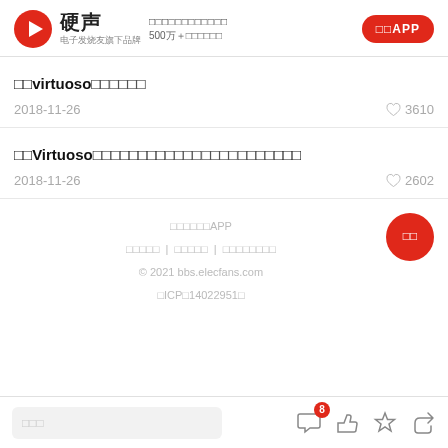硬声 电子发烧友旗下品牌 — 500万+内容创作者 — 打开APP
用virtuoso仿真电路 2018-11-26 热度 3610
用Virtuoso仿真一个最简单的反相器电路并观察其瞬态仿真波形 2018-11-26 热度 2602
下载硬声APP | 关于我们 | 联系我们 | 意见与反馈 | © 2021 bbs.elecfans.com | 粤ICP备14022951号